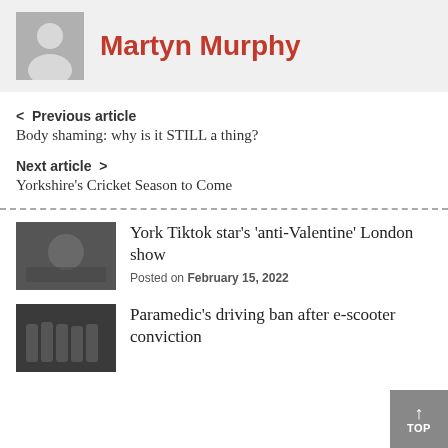Martyn Murphy
< Previous article
Body shaming: why is it STILL a thing?
Next article >
Yorkshire's Cricket Season to Come
York Tiktok star's 'anti-Valentine' London show
Posted on February 15, 2022
Paramedic's driving ban after e-scooter conviction